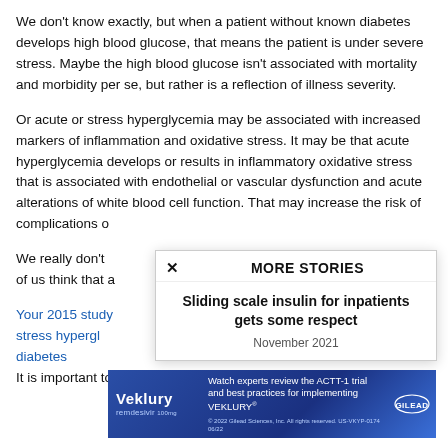We don't know exactly, but when a patient without known diabetes develops high blood glucose, that means the patient is under severe stress. Maybe the high blood glucose isn't associated with mortality and morbidity per se, but rather is a reflection of illness severity.
Or acute or stress hyperglycemia may be associated with increased markers of inflammation and oxidative stress. It may be that acute hyperglycemia develops or results in inflammatory oxidative stress that is associated with endothelial or vascular dysfunction and acute alterations of white blood cell function. That may increase the risk of complications o[verlaid by popup]
We really don't [overlaid] of us think that a[overlaid]
Your 2015 study [link] stress hypergl[overlaid] diabetes [overlaid] It is important to measure HbA1c in the hospital. High blood glucose
[Figure (infographic): Popup overlay showing 'MORE STORIES' header with close X button, and article title 'Sliding scale insulin for inpatients gets some respect' dated November 2021]
[Figure (infographic): Veklury (remdesivir) advertisement banner by Gilead. Text: Watch experts review the ACTT-1 trial and best practices for implementing VEKLURY. Copyright 2022 Gilead Sciences, Inc.]